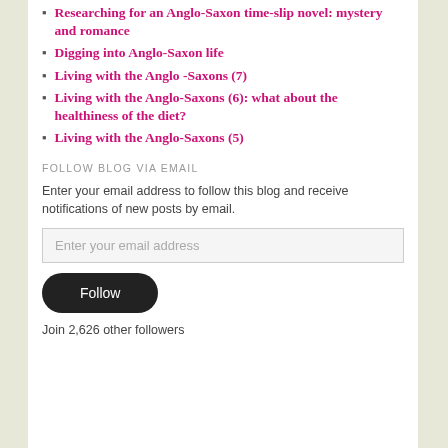Researching for an Anglo-Saxon time-slip novel: mystery and romance
Digging into Anglo-Saxon life
Living with the Anglo -Saxons (7)
Living with the Anglo-Saxons (6): what about the healthiness of the diet?
Living with the Anglo-Saxons (5)
FOLLOW BLOG VIA EMAIL
Enter your email address to follow this blog and receive notifications of new posts by email.
Enter your email address
Follow
Join 2,626 other followers